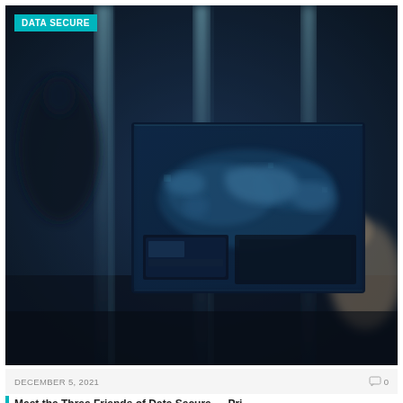[Figure (photo): Dark, blurred photo of a high-tech data center or security operations center with large screens displaying a blue world map with data overlays. A person silhouette is visible on the left, another figure on the right. 'DATA SECURE' label badge in teal/cyan in upper-left corner.]
DECEMBER 5, 2021   0
Meet the Three Friends of Data Secure — Pri...